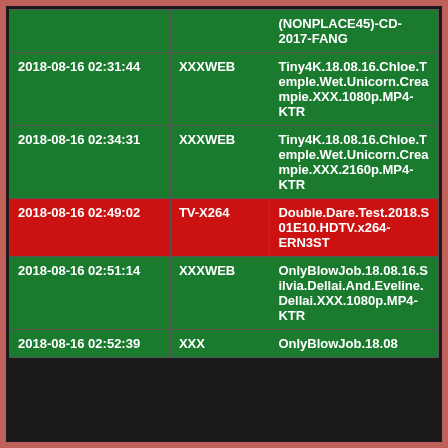| Date | Category | Name |
| --- | --- | --- |
|  |  | (NONPLACE45)-CD-2017-FANG |
| 2018-08-16 02:31:44 | XXXWEB | Tiny4K.18.08.16.Chloe.Temple.Wet.Unicorn.Creampie.XXX.1080p.MP4-KTR |
| 2018-08-16 02:34:31 | XXXWEB | Tiny4K.18.08.16.Chloe.Temple.Wet.Unicorn.Creampie.XXX.2160p.MP4-KTR |
| 2018-08-16 02:49:02 | TV-X264 | Double.Dare.Test.2018.S01E10.HDTV.x264-ERN3ST |
| 2018-08-16 02:51:14 | XXXWEB | OnlyBlowJob.18.08.16.Silvia.Dellai.And.Eveline.Dellai.XXX.1080p.MP4-KTR |
| 2018-08-16 02:52:39 | XXX | OnlyBlowJob.18.08 |